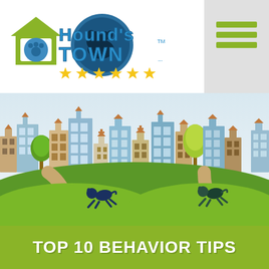[Figure (logo): Hound's Town logo with green house, blue circular dog image, teal stylized text reading 'Hounds Town' with TM mark, and six gold stars below]
[Figure (illustration): Cityscape illustration with colorful buildings, green trees, sandy paths, green grass hills, and two dark blue cartoon dogs running on the paths]
TOP 10 BEHAVIOR TIPS